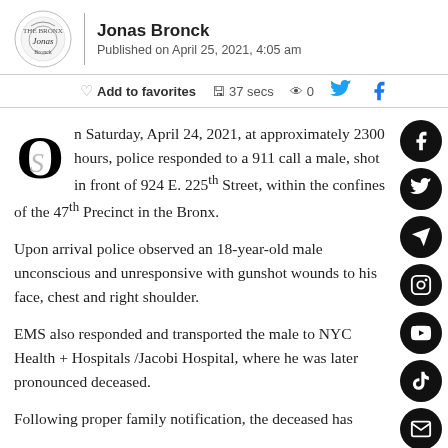Jonas Bronck
Published on April 25, 2021, 4:05 am
Add to favorites   37 secs   0
On Saturday, April 24, 2021, at approximately 2300 hours, police responded to a 911 call a male, shot in front of 924 E. 225th Street, within the confines of the 47th Precinct in the Bronx.
Upon arrival police observed an 18-year-old male unconscious and unresponsive with gunshot wounds to his face, chest and right shoulder.
EMS also responded and transported the male to NYC Health + Hospitals /Jacobi Hospital, where he was later pronounced deceased.
Following proper family notification, the deceased has